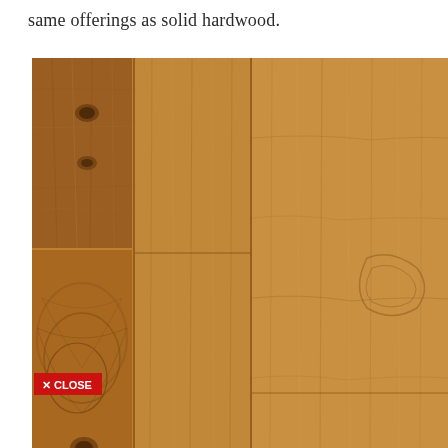same offerings as solid hardwood.
[Figure (photo): Close-up photograph of hardwood flooring planks showing natural wood grain, knots, and color variation in warm golden-brown tones. Multiple planks are visible with staggered joints.]